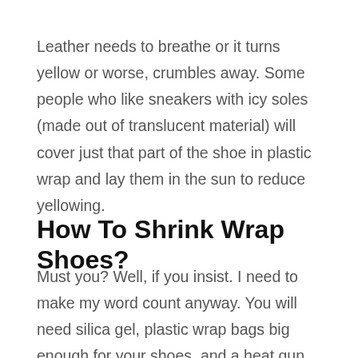Leather needs to breathe or it turns yellow or worse, crumbles away. Some people who like sneakers with icy soles (made out of translucent material) will cover just that part of the shoe in plastic wrap and lay them in the sun to reduce yellowing.
How To Shrink Wrap Shoes?
Must you? Well, if you insist. I need to make my word count anyway. You will need silica gel, plastic wrap bags big enough for your shoes, and a heat gun. Follow